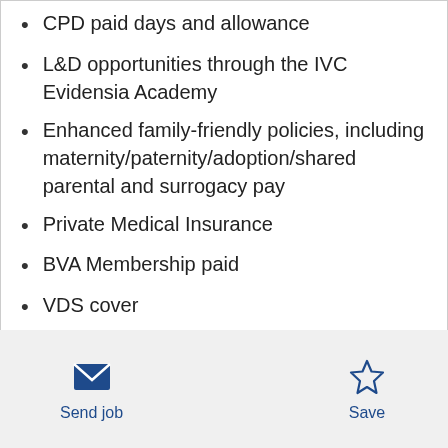CPD paid days and allowance
L&D opportunities through the IVC Evidensia Academy
Enhanced family-friendly policies, including maternity/paternity/adoption/shared parental and surrogacy pay
Private Medical Insurance
BVA Membership paid
VDS cover
Birthday leave
Discounted veterinary fees
Send job   Save